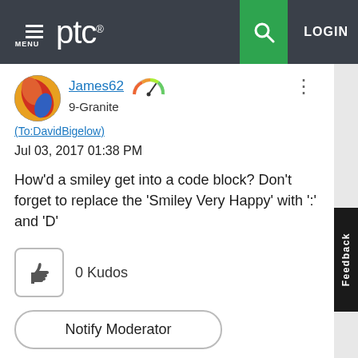PTC — MENU | LOGIN
James62
9-Granite
(To:DavidBigelow)
Jul 03, 2017 01:38 PM
How'd a smiley get into a code block? Don't forget to replace the 'Smiley Very Happy' with ':' and 'D'
0 Kudos
Notify Moderator
Reply